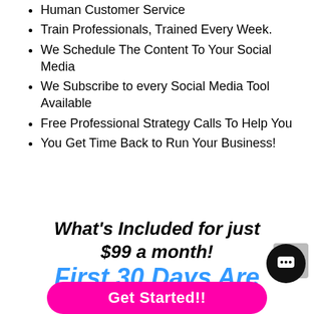Human Customer Service
Train Professionals, Trained Every Week.
We Schedule The Content To Your Social Media
We Subscribe to every Social Media Tool Available
Free Professional Strategy Calls To Help You
You Get Time Back to Run Your Business!
What's Included for just $99 a month!
First 30 Days Are Free!
Get Started!!